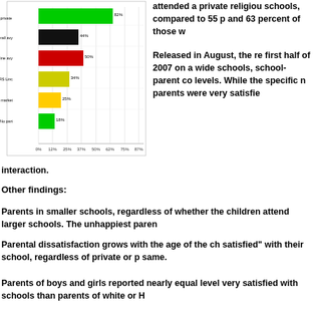[Figure (bar-chart): Horizontal bar chart showing satisfaction percentages for different school categories, colored green, black, red, yellow, and green bars]
attended a private religious schools, compared to 55 p and 63 percent of those w
Released in August, the re first half of 2007 on a wide schools, school-parent co levels. While the specific n parents were very satisfie interaction.
Other findings:
Parents in smaller schools, regardless of whether the children attend larger schools. The unhappiest paren
Parental dissatisfaction grows with the age of the ch satisfied" with their school, regardless of private or p same.
Parents of boys and girls reported nearly equal level very satisfied with schools than parents of white or H
Three-quarters or more of all parents interviewed sai conference, but more private school parents reporte fundraising. Parents of children in smaller schools o larger schools or higher grades.